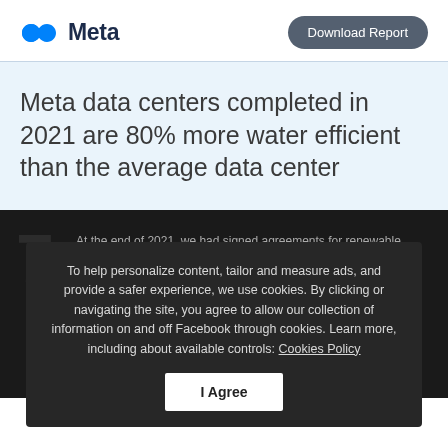Meta | Download Report
Meta data centers completed in 2021 are 80% more water efficient than the average data center
7
To help personalize content, tailor and measure ads, and provide a safer experience, we use cookies. By clicking or navigating the site, you agree to allow our collection of information on and off Facebook through cookies. Learn more, including about available controls: Cookies Policy
I Agree